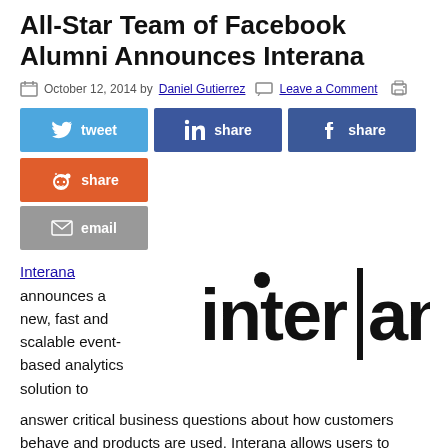All-Star Team of Facebook Alumni Announces Interana
October 12, 2014 by Daniel Gutierrez · Leave a Comment
[Figure (infographic): Social sharing buttons: tweet (Twitter, blue), share (LinkedIn, dark blue), share (Facebook, dark blue), share (Reddit, orange), email (grey)]
Interana announces a new, fast and scalable event-based analytics solution to answer critical business questions about how customers behave and products are used. Interana allows users to analyze and explore the key business metrics that matter most in a data-driven world – such as growth, retention, conversion and engagement – in seconds, rather than the hours or days it often takes with existing solutions. Interana allows customers to discover and investigate
[Figure (logo): Interana logo in black text with vertical bar separator between 'inter' and 'ana']